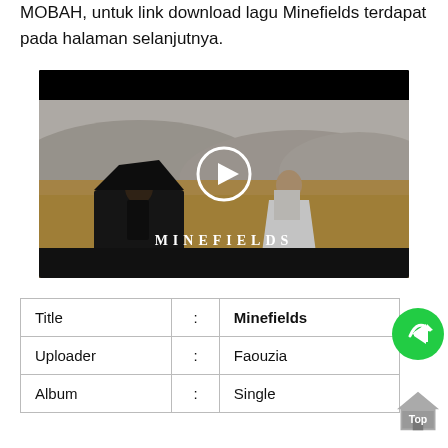MOBAH, untuk link download lagu Minefields terdapat pada halaman selanjutnya.
[Figure (screenshot): YouTube-style video thumbnail for 'Minefields' by Faouzia and John Legend. Shows a man at a grand piano and a woman in a white dress in a golden field with hills in background. Large play button circle overlay in center. Text 'MINEFIELDS' and 'FAOUZIA JOHN LEGEND' at bottom.]
| Title | : | Minefields |
| Uploader | : | Faouzia |
| Album | : | Single |